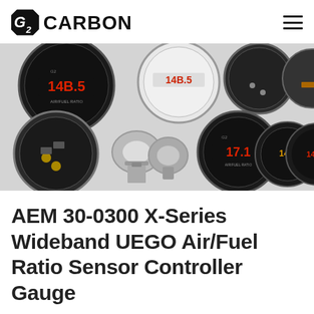G2 CARBON
[Figure (photo): Product photo collage showing AEM X-Series Wideband UEGO Air/Fuel Ratio Sensor Controller Gauge from multiple angles: front face with black bezel showing red digital display reading 14B.5, white face version, back of gauge, two-row arrangement showing back ports, mounting hardware brackets, and additional gauge faces]
AEM 30-0300 X-Series Wideband UEGO Air/Fuel Ratio Sensor Controller Gauge
$189.94